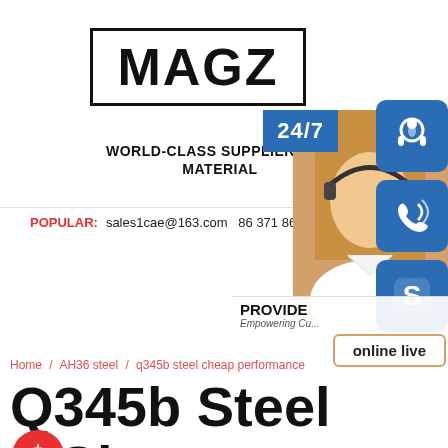[Figure (logo): MAGZ logo in black bold text inside a rectangular border]
[Figure (photo): Woman with headset customer service photo with 24/7 banner, contact icons (headset, phone, Skype), PROVIDE/Empowering Customers text, and online live button]
WORLD-CLASS SUPPLIER OF S MATERIAL
POPULAR: sales1cae@163.com 86 371 861
Home / AH36 steel / q345b steel cheap performance
Q345b Steel Cheap Performance